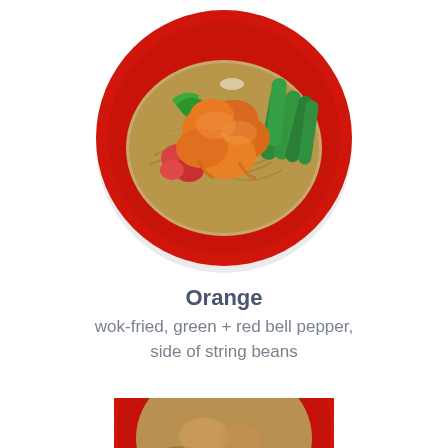[Figure (photo): Top-down view of a red plate with orange sauce wok-fried chicken, green and red bell peppers, green string beans, on a bed of noodles]
Orange
wok-fried, green + red bell pepper, side of string beans
[Figure (photo): Partial top-down view of a red plate with noodle dish, cropped at bottom of page]